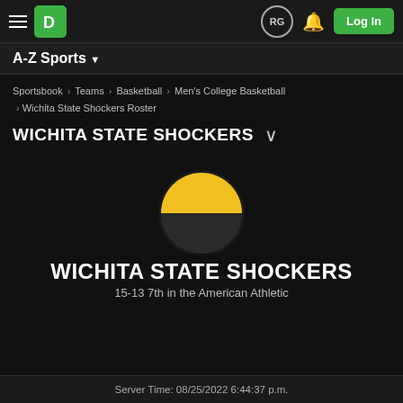[Figure (screenshot): DraftKings sportsbook top navigation bar with hamburger menu, DraftKings green logo, RG circle icon, bell notification icon, and green Log In button]
A-Z Sports ▼
Sportsbook › Teams › Basketball › Men's College Basketball › Wichita State Shockers Roster
WICHITA STATE SHOCKERS ∨
[Figure (logo): Wichita State Shockers team logo: yellow semicircle on top of dark circle]
WICHITA STATE SHOCKERS
15-13 7th in the American Athletic
Server Time: 08/25/2022 6:44:37 p.m.